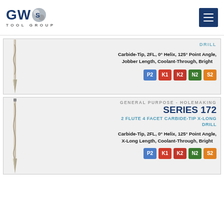GWS TOOL GROUP
DRILL
Carbide-Tip, 2FL, 0° Helix, 125° Point Angle, Jobber Length, Coolant-Through, Bright
P2 K1 K2 N2 S2
GENERAL PURPOSE - HOLEMAKING
SERIES 172
2 FLUTE 4 FACET CARBIDE-TIP X-LONG DRILL
Carbide-Tip, 2FL, 0° Helix, 125° Point Angle, X-Long Length, Coolant-Through, Bright
P2 K1 K2 N2 S2